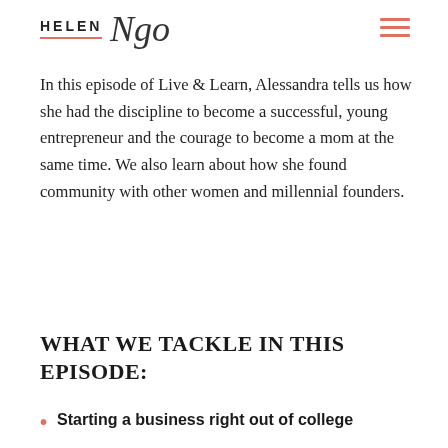HELEN Ngo ☰
In this episode of Live & Learn, Alessandra tells us how she had the discipline to become a successful, young entrepreneur and the courage to become a mom at the same time. We also learn about how she found community with other women and millennial founders.
WHAT WE TACKLE IN THIS EPISODE:
Starting a business right out of college